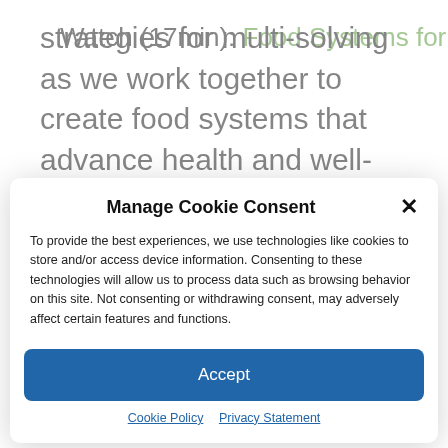strategies for multi-solving as we work together to create food systems that advance health and well-being. Register for this webinar here.
Watch (17min): Food Systems for
Manage Cookie Consent
To provide the best experiences, we use technologies like cookies to store and/or access device information. Consenting to these technologies will allow us to process data such as browsing behavior on this site. Not consenting or withdrawing consent, may adversely affect certain features and functions.
Accept
Cookie Policy   Privacy Statement